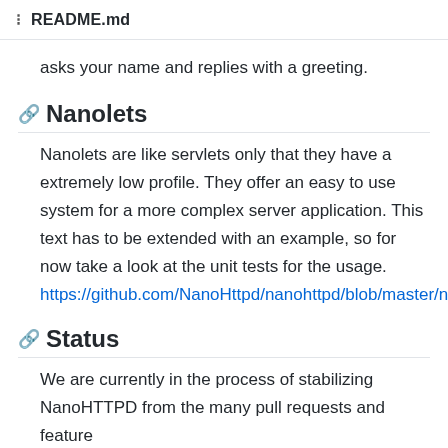README.md
asks your name and replies with a greeting.
Nanolets
Nanolets are like servlets only that they have a extremely low profile. They offer an easy to use system for a more complex server application. This text has to be extended with an example, so for now take a look at the unit tests for the usage. https://github.com/NanoHttpd/nanohttpd/blob/master/nanolets/src/test/java/org/nanohttpd/junit/router/AppNanolets.java
Status
We are currently in the process of stabilizing NanoHTTPD from the many pull requests and feature